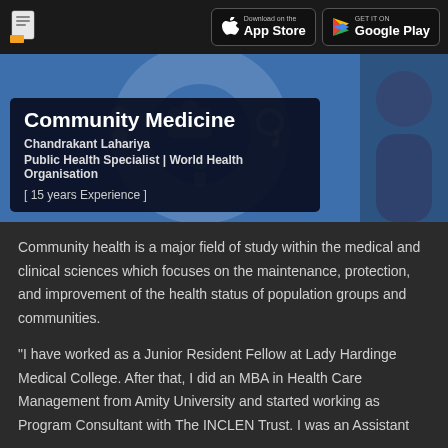App Store  Google Play
[Figure (screenshot): Hero banner with blue background showing community health icons and a person in the top right corner]
Community Medicine
Chandrakant Lahariya
Public Health Specialist | World Health Organisation
[ 15 years Experience ]
Community health is a major field of study within the medical and clinical sciences which focuses on the maintenance, protection, and improvement of the health status of population groups and communities.
"I have worked as a Junior Resident Fellow at Lady Hardinge Medical College. After that, I did an MBA in Health Care Management from Amity University and started working as Program Consultant with The INCLEN Trust. I was an Assistant